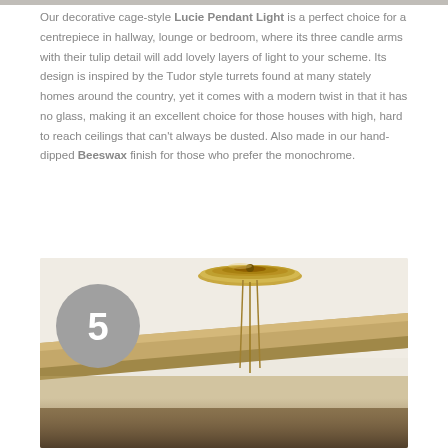Our decorative cage-style Lucie Pendant Light is a perfect choice for a centrepiece in hallway, lounge or bedroom, where its three candle arms with their tulip detail will add lovely layers of light to your scheme. Its design is inspired by the Tudor style turrets found at many stately homes around the country, yet it comes with a modern twist in that it has no glass, making it an excellent choice for those houses with high, hard to reach ceilings that can't always be dusted. Also made in our hand-dipped Beeswax finish for those who prefer the monochrome.
[Figure (photo): Close-up photo of a decorative pendant light ceiling rose/canopy in an antique brass/beeswax finish, with twisted wire cables hanging down, mounted against a ceiling with a wooden beam visible. A gray circular badge with the number 5 is overlaid on the lower-left area of the photo.]